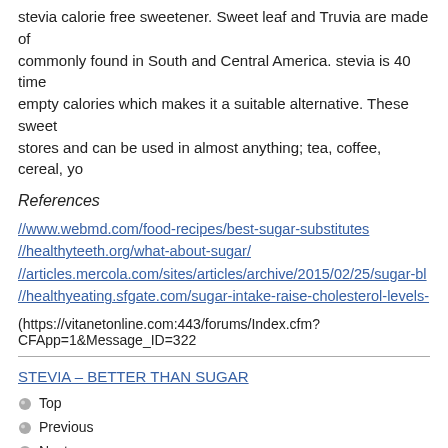stevia calorie free sweetener. Sweet leaf and Truvia are made of stevia commonly found in South and Central America. stevia is 40 times... empty calories which makes it a suitable alternative. These sweeteners are found in stores and can be used in almost anything; tea, coffee, cereal, yo...
References
//www.webmd.com/food-recipes/best-sugar-substitutes
//healthyteeth.org/what-about-sugar/
//articles.mercola.com/sites/articles/archive/2015/02/25/sugar-bl
//healthyeating.sfgate.com/sugar-intake-raise-cholesterol-levels-
(https://vitanetonline.com:443/forums/Index.cfm?CFApp=1&Message_ID=322
STEVIA – BETTER THAN SUGAR
Top
Previous
Next
Date: July 29, 2015 05:11 PM
Author:
Darroll Miller